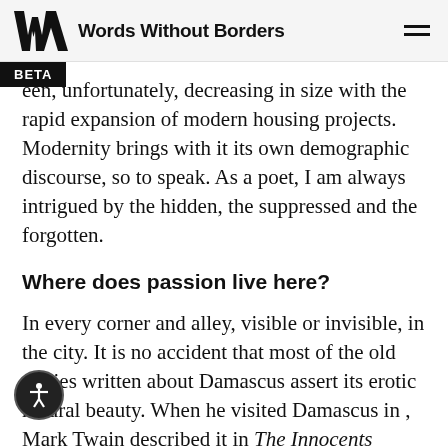Words Without Borders
een, unfortunately, decreasing in size with the rapid expansion of modern housing projects. Modernity brings with it its own demographic discourse, so to speak. As a poet, I am always intrigued by the hidden, the suppressed and the forgotten.
Where does passion live here?
In every corner and alley, visible or invisible, in the city. It is no accident that most of the old stories written about Damascus assert its erotic natural beauty. When he visited Damascus in [date], Mark Twain described it in The Innocents Abroad as “a type of immortality.” According to